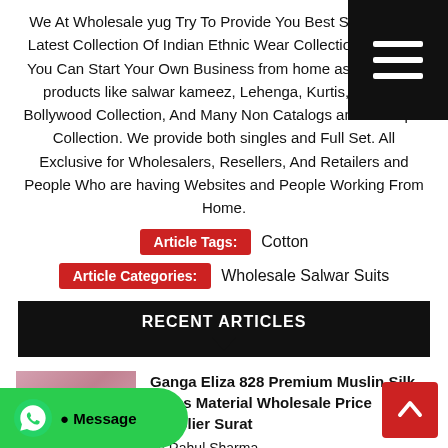We At Wholesale yug Try To Provide You Best Service And Latest Collection Of Indian Ethnic Wear Collection, With Us You Can Start Your Own Business from home as we supply products like salwar kameez, Lehenga, Kurtis, Sarees, Bollywood Collection, And Many Non Catalogs and Boutique Collection. We provide both singles and Full Set. All Exclusive for Wholesalers, Resellers, And Retailers and People Who are having Websites and People Working From Home.
Article Tags: Cotton
Article Categories: Wholesale Salwar Suits
RECENT ARTICLES
[Figure (photo): Thumbnail image for article about Ganga Eliza 828 Premium Muslin Silk Dress Material, showing a pink dress]
Ganga Eliza 828 Premium Muslin Silk Dress Material Wholesale Price Supplier Surat
by Rahul Sharma